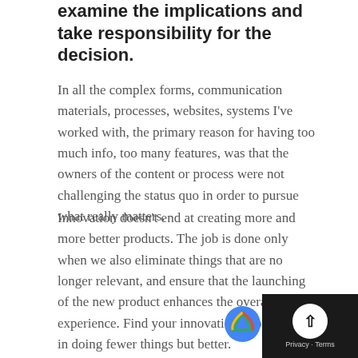examine the implications and take responsibility for the decision.
In all the complex forms, communication materials, processes, websites, systems I've worked with, the primary reason for having too much info, too many features, was that the owners of the content or process were not challenging the status quo in order to pursue what really matters.
Innovation doesn't end at creating more and more better products. The job is done only when we also eliminate things that are no longer relevant, and ensure that the launching of the new product enhances the overall experience. Find your innovation opportunities in doing fewer things but better.